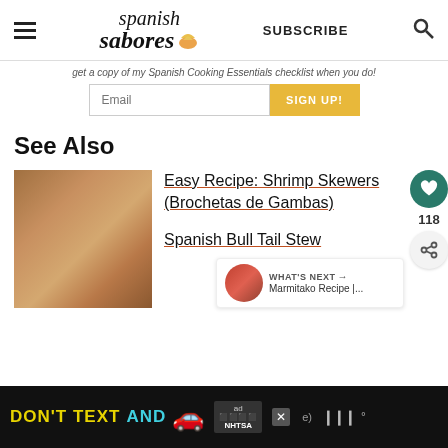Spanish Sabores — SUBSCRIBE
get a copy of my Spanish Cooking Essentials checklist when you do!
Email — SIGN UP!
See Also
[Figure (photo): Food photo thumbnail showing shrimp skewers]
Easy Recipe: Shrimp Skewers (Brochetas de Gambas)
Spanish Bull Tail Stew
WHAT'S NEXT → Marmitako Recipe |...
[Figure (photo): Advertisement banner: DON'T TEXT AND [car emoji] — NHTSA ad]